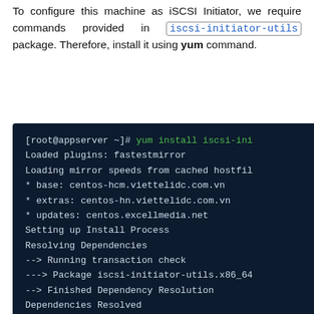To configure this machine as iSCSI Initiator, we require commands provided in iscsi-initiator-utils package. Therefore, install it using yum command.
[Figure (screenshot): Terminal window showing yum install iscsi-initiator-utils command output on a dark navy background, with green command text and white output lines showing plugin loading, mirror loading, package resolution steps.]